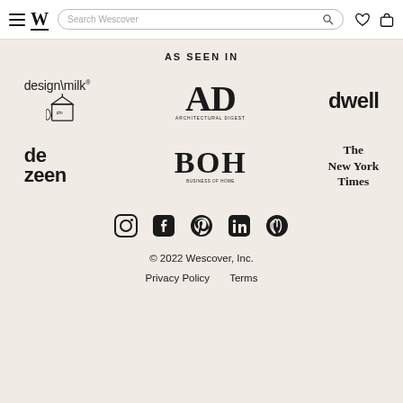Wescover — Search bar, wishlist, cart icons
AS SEEN IN
[Figure (logo): design\milk logo with milk carton illustration]
[Figure (logo): AD (Architectural Digest) logo]
[Figure (logo): dwell logo]
[Figure (logo): dezeen logo]
[Figure (logo): BOH logo]
[Figure (logo): The New York Times logo]
[Figure (infographic): Social media icons: Instagram, Facebook, Pinterest, LinkedIn, Clubhouse]
© 2022 Wescover, Inc.
Privacy Policy   Terms